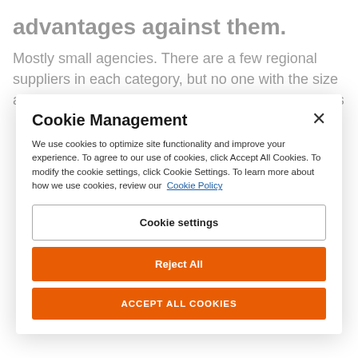advantages against them.
Mostly small agencies. There are a few regional suppliers in each category, but no one with the size and scale of BCD. We see a lot of small competitors
Cookie Management
We use cookies to optimize site functionality and improve your experience. To agree to our use of cookies, click Accept All Cookies. To modify the cookie settings, click Cookie Settings. To learn more about how we use cookies, review our Cookie Policy
Cookie settings
Reject All
ACCEPT ALL COOKIES